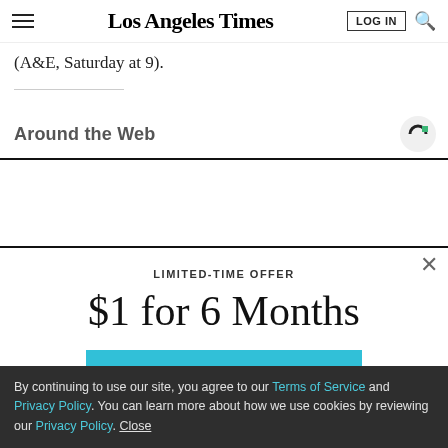Los Angeles Times
(A&E, Saturday at 9).
Around the Web
LIMITED-TIME OFFER
$1 for 6 Months
SUBSCRIBE NOW
By continuing to use our site, you agree to our Terms of Service and Privacy Policy. You can learn more about how we use cookies by reviewing our Privacy Policy. Close